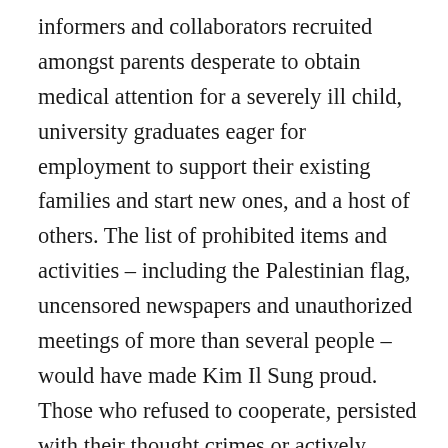informers and collaborators recruited amongst parents desperate to obtain medical attention for a severely ill child, university graduates eager for employment to support their existing families and start new ones, and a host of others. The list of prohibited items and activities – including the Palestinian flag, uncensored newspapers and unauthorized meetings of more than several people – would have made Kim Il Sung proud. Those who refused to cooperate, persisted with their thought crimes or actively resisted Israeli power with so much as a slogan could expect imprisonment, torture, the sealing or outright bulldozing of their homes and the